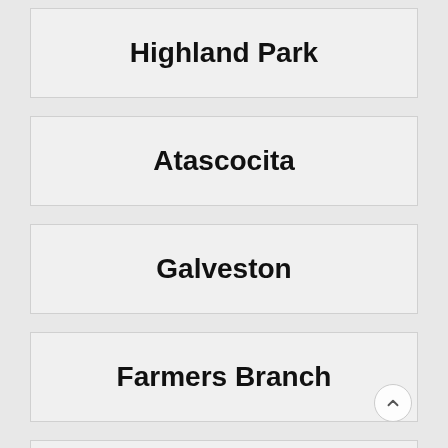Highland Park
Atascocita
Galveston
Farmers Branch
Bridgeport